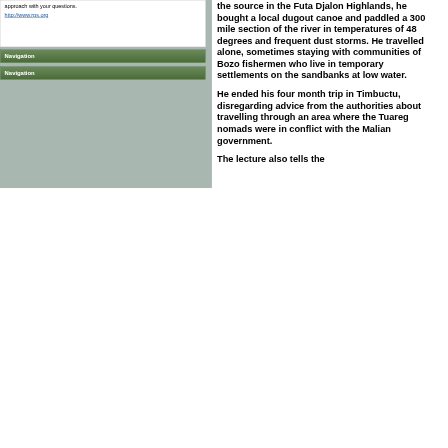approach with your questions.
http://www.rgs.org
Navigation
Navigation
the source in the Futa Djalon Highlands, he bought a local dugout canoe and paddled a 300 mile section of the river in temperatures of 48 degrees and frequent dust storms. He travelled alone, sometimes staying with communities of Bozo fishermen who live in temporary settlements on the sandbanks at low water.
He ended his four month trip in Timbuctu, disregarding advice from the authorities about travelling through an area where the Tuareg nomads were in conflict with the Malian government.
The lecture also tells the